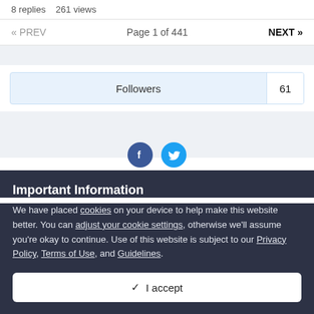8 replies   261 views
« PREV   Page 1 of 441   NEXT »
Followers  61
Important Information
We have placed cookies on your device to help make this website better. You can adjust your cookie settings, otherwise we'll assume you're okay to continue. Use of this website is subject to our Privacy Policy, Terms of Use, and Guidelines.
✔  I accept